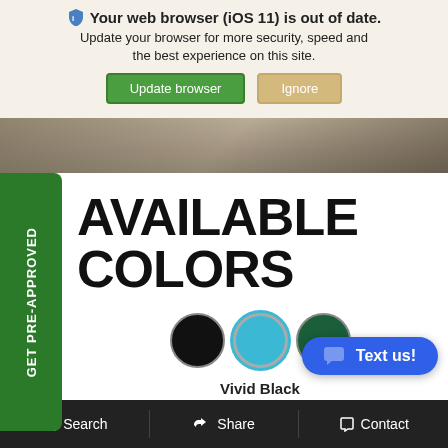[Figure (screenshot): Browser update notification banner with icon, bold title 'Your web browser (iOS 11) is out of date.', subtext 'Update your browser for more security, speed and the best experience on this site.', and two buttons: 'Update browser' (green) and 'Ignore' (tan). Below is a photo strip of a road/ground. Then a website product page showing 'AVAILABLE COLORS' heading with a green PRE-APPROVED sidebar badge, three color swatches (black, teal, dark green), label 'Vivid Black', a blue 'Text us!' chat button, and a dark bottom navigation bar with Search, Share, Contact.]